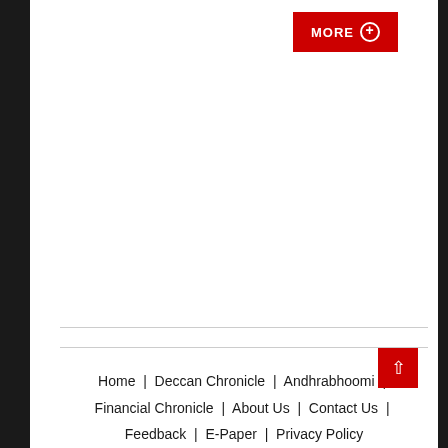[Figure (other): Red MORE button with plus icon in a circle, positioned top right of the page]
Home  |  Deccan Chronicle  |  Andhrabhoomi  |  Financial Chronicle  |  About Us  |  Contact Us  |  Feedback  |  E-Paper  |  Privacy Policy